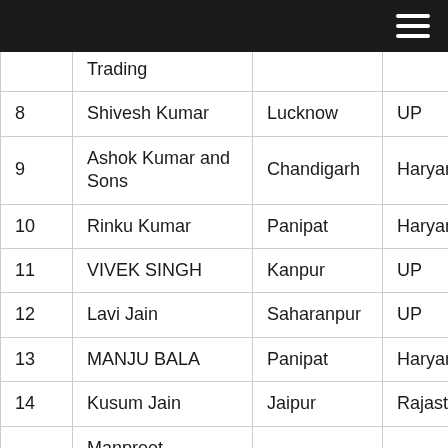Navigation menu header bar
| # | Name | City | State |
| --- | --- | --- | --- |
|  | Trading |  |  |
| 8 | Shivesh Kumar | Lucknow | UP |
| 9 | Ashok Kumar and Sons | Chandigarh | Haryana |
| 10 | Rinku Kumar | Panipat | Haryana |
| 11 | VIVEK SINGH | Kanpur | UP |
| 12 | Lavi Jain | Saharanpur | UP |
| 13 | MANJU BALA | Panipat | Haryana |
| 14 | Kusum Jain | Jaipur | Rajasthan |
| 15 | Manpreet ... | Chandigarh | Haryana |